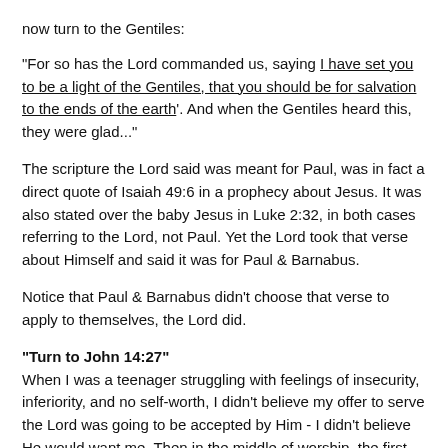now turn to the Gentiles:
"For so has the Lord commanded us, saying 'I have set you to be a light of the Gentiles, that you should be for salvation to the ends of the earth'. And when the Gentiles heard this, they were glad..."
The scripture the Lord said was meant for Paul, was in fact a direct quote of Isaiah 49:6 in a prophecy about Jesus. It was also stated over the baby Jesus in Luke 2:32, in both cases referring to the Lord, not Paul. Yet the Lord took that verse about Himself and said it was for Paul & Barnabus.
Notice that Paul & Barnabus didn't choose that verse to apply to themselves, the Lord did.
"Turn to John 14:27"
When I was a teenager struggling with feelings of insecurity, inferiority, and no self-worth, I didn't believe my offer to serve the Lord was going to be accepted by Him - I didn't believe He would want me. Then in the middle of worship, the first time I heard the voice of the Lord Jesus Himself, He said...